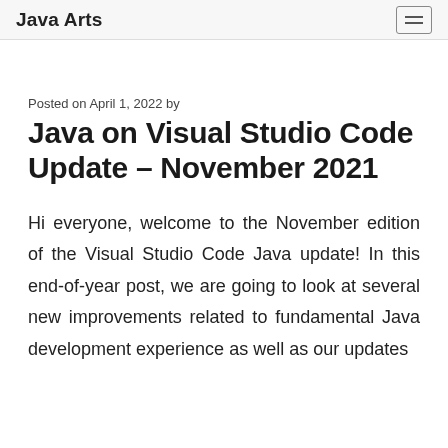Java Arts
Posted on April 1, 2022 by
Java on Visual Studio Code Update – November 2021
Hi everyone, welcome to the November edition of the Visual Studio Code Java update! In this end-of-year post, we are going to look at several new improvements related to fundamental Java development experience as well as our updates